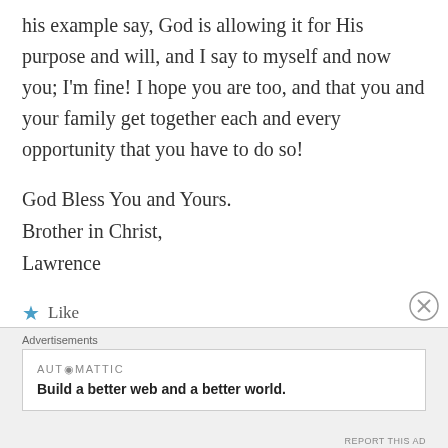his example say, God is allowing it for His purpose and will, and I say to myself and now you; I'm fine! I hope you are too, and that you and your family get together each and every opportunity that you have to do so!
God Bless You and Yours.
Brother in Christ,
Lawrence
Like
Reply
Advertisements
[Figure (other): Automattic advertisement banner: 'Build a better web and a better world.']